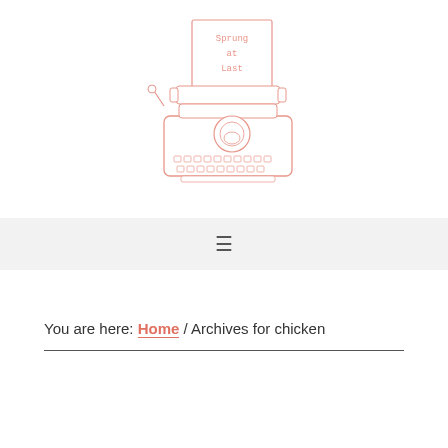[Figure (illustration): Hand-drawn illustration of a vintage typewriter in salmon/pink color with a paper inserted showing the text 'Sprung at Last']
Navigation bar with hamburger menu icon
You are here: Home / Archives for chicken